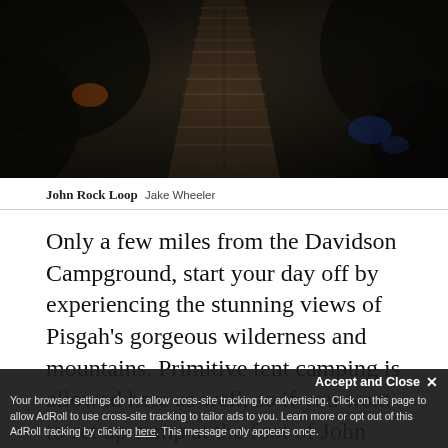[Figure (photo): Dark forest boardwalk path made of wooden planks winding through dense, shadowy vegetation. Photo credit: Jake Wheeler, John Rock Loop trail.]
John Rock Loop Jake Wheeler
Only a few miles from the Davidson Campground, start your day off by experiencing the stunning views of Pisgah's gorgeous wilderness and mountains. Primitive tent camping is allowed here as well, so if you want to set up camp at the foot of John Rock, you may.
Accept and Close ×
Your browser settings do not allow cross-site tracking for advertising. Click on this page to allow AdRoll to use cross-site tracking to tailor ads to you. Learn more or opt out of this AdRoll tracking by clicking here. This message only appears once.